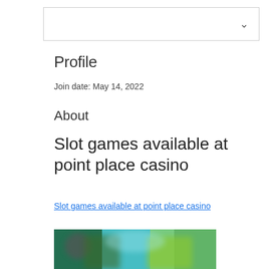[Figure (other): Dropdown/select input box with chevron arrow on the right side]
Profile
Join date: May 14, 2022
About
Slot games available at point place casino
Slot games available at point place casino
[Figure (photo): Blurred photo showing casino slot game characters with teal/green background]